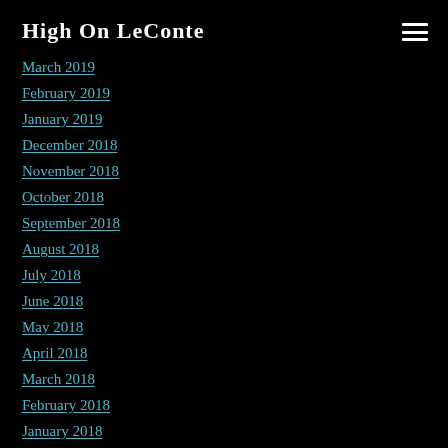High On LeConte
March 2019
February 2019
January 2019
December 2018
November 2018
October 2018
September 2018
August 2018
July 2018
June 2018
May 2018
April 2018
March 2018
February 2018
January 2018
December 2017
November 2017